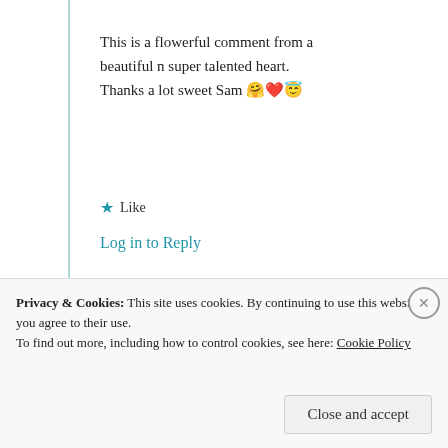This is a flowerful comment from a beautiful n super talented heart. Thanks a lot sweet Sam 🤗❤️😇
★ Like
Log in to Reply
Michele Lee
25th Aug 2021 at 10:08 am
Privacy & Cookies: This site uses cookies. By continuing to use this website, you agree to their use. To find out more, including how to control cookies, see here: Cookie Policy
Close and accept